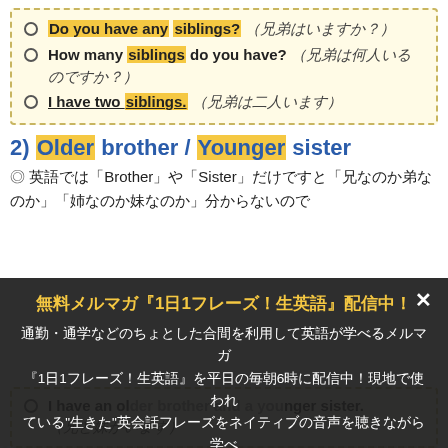Do you have any siblings?（兄弟はいますか？）
How many siblings do you have?（兄弟は何人いるのですか？）
I have two siblings.（兄弟は二人います）
2) Older brother / Younger sister
◎ 英語では「Brother」や「Sister」だけですと「兄なのか弟なのか」「姉なのか妹なのか」分からないので
無料メルマガ『1日1フレーズ！生英語』配信中！
通勤・通学などのちょとした合間を利用して英語が学べるメルマガ『1日1フレーズ！生英語』を平日の毎朝6時に配信中！現地で使われている"生きた"英会話フレーズをネイティブの音声を聴きながら学べます。
I have an older brother and a younger sister.（兄と妹がいます）